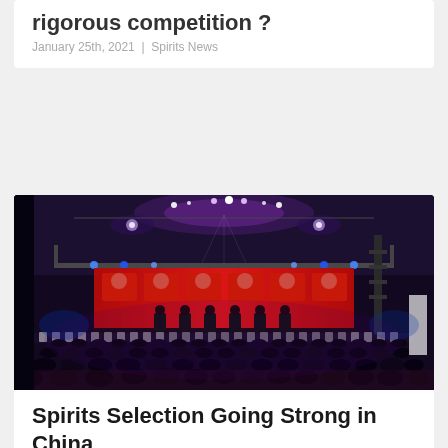rigorous competition ?
January 25th, 2021  |  Spirits News
[Figure (photo): Large conference or awards ceremony hall with audience seated in white chairs facing a stage with a large red LED screen showing speakers/presenters. Elaborate ceiling lighting with purple and white lights. The setting appears to be a formal Chinese spirits industry event.]
Spirits Selection Going Strong in China
January 7th, 2021  |  Spirits News